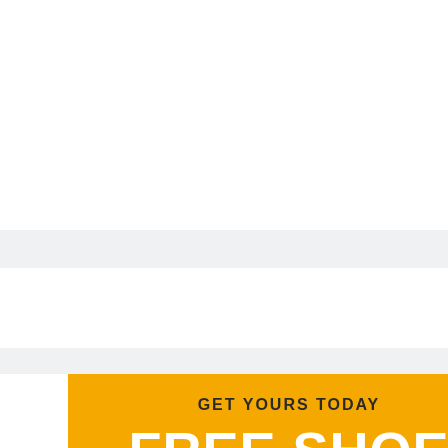[Figure (illustration): Advertisement for Free Shoe Repair Estimate. Left half has yellow/orange background with text 'GET YOURS TODAY' and 'FREE SHOE REPAIR ESTIMATE' in bold white letters. Right half shows a photo of two light-colored high heel shoes against a gray background.]